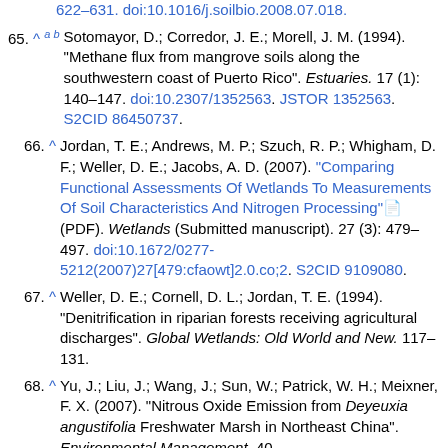(truncated top) 622–631. doi:10.1016/j.soilbio.2008.07.018.
65. ^ a b Sotomayor, D.; Corredor, J. E.; Morell, J. M. (1994). "Methane flux from mangrove soils along the southwestern coast of Puerto Rico". Estuaries. 17 (1): 140–147. doi:10.2307/1352563. JSTOR 1352563. S2CID 86450737.
66. ^ Jordan, T. E.; Andrews, M. P.; Szuch, R. P.; Whigham, D. F.; Weller, D. E.; Jacobs, A. D. (2007). "Comparing Functional Assessments Of Wetlands To Measurements Of Soil Characteristics And Nitrogen Processing" (PDF). Wetlands (Submitted manuscript). 27 (3): 479–497. doi:10.1672/0277-5212(2007)27[479:cfaowt]2.0.co;2. S2CID 9109080.
67. ^ Weller, D. E.; Cornell, D. L.; Jordan, T. E. (1994). "Denitrification in riparian forests receiving agricultural discharges". Global Wetlands: Old World and New. 117–131.
68. ^ Yu, J.; Liu, J.; Wang, J.; Sun, W.; Patrick, W. H.; Meixner, F. X. (2007). "Nitrous Oxide Emission from Deyeuxia angustifolia Freshwater Marsh in Northeast China". Environmental Management. 40